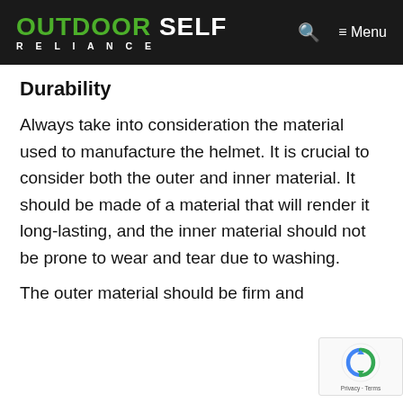OUTDOOR SELF RELIANCE — Menu
Durability
Always take into consideration the material used to manufacture the helmet. It is crucial to consider both the outer and inner material. It should be made of a material that will render it long-lasting, and the inner material should not be prone to wear and tear due to washing.
The outer material should be firm and